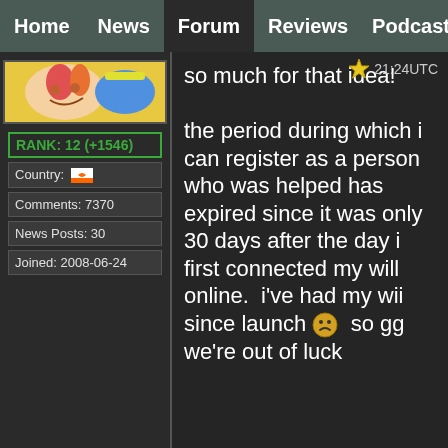Home | News | Forum | Reviews | Podcast
[Figure (illustration): Anime/cartoon style avatar image with colorful character]
RANK: 12 (+1546)
Country: [Cyprus flag]
Comments: 7370
News Posts: 30
Joined: 2008-06-24
21:24UTC
so much for that idea!

the period during which i can register as a person who was helped has expired since it was only 30 days after the day i first connected my will online.  i've had my wii since launch :( so gg we're out of luck